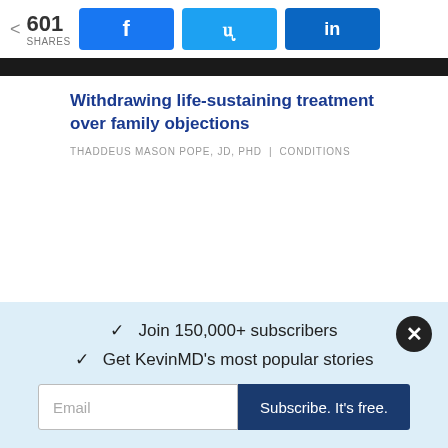601 SHARES | Facebook | Twitter | LinkedIn
Withdrawing life-sustaining treatment over family objections
THADDEUS MASON POPE, JD, PHD | CONDITIONS
✓ Join 150,000+ subscribers
✓ Get KevinMD's most popular stories
Email
Subscribe. It's free.